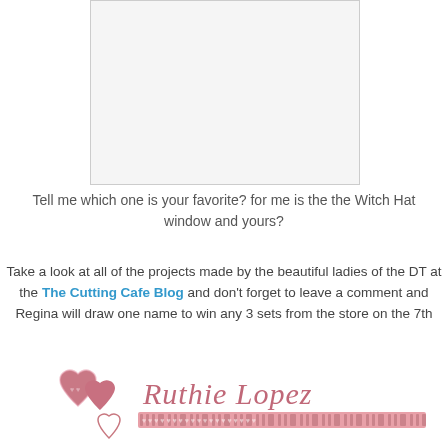[Figure (photo): White/blank rectangular image area at top center of the page]
Tell me which one is your favorite? for me is the the Witch Hat window and yours?
Take a look at all of the projects made by the beautiful ladies of the DT at the The Cutting Cafe Blog and don't forget to leave a comment and Regina will draw one name to win any 3 sets from the store on the 7th
[Figure (illustration): Ruthie Lopez signature/logo with decorative hearts and pink striped ribbon design]